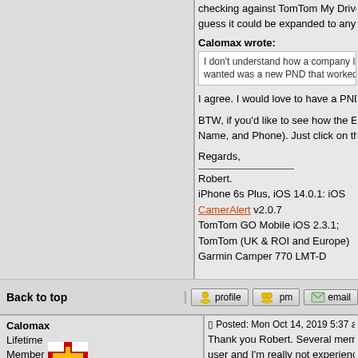checking against TomTom My Drive maps and also Here maps for. guess it could be expanded to any other SatNav as long as you k
Calomax wrote:
I don't understand how a company like TomTom can make mo... wanted was a new PND that worked like my old Go720.
I agree. I would love to have a PND that matched or even exceed
BTW, if you'd like to see how the Excel spreadsheet works, then s Name, and Phone). Just click on the email button on my post.
Regards,
Robert.
iPhone 6s Plus, iOS 14.0.1: iOS CamerAlert v2.0.7
TomTom GO Mobile iOS 2.3.1; TomTom (UK & ROI and Europe)
Garmin Camper 770 LMT-D
Back to top
profile   pm   email
Calomax
Lifetime Member
Posted: Mon Oct 14, 2019 5:37 am    Post subject:
Thank you Robert. Several members of the forums have said tha user and I'm really not experienced enough to try your suggestion